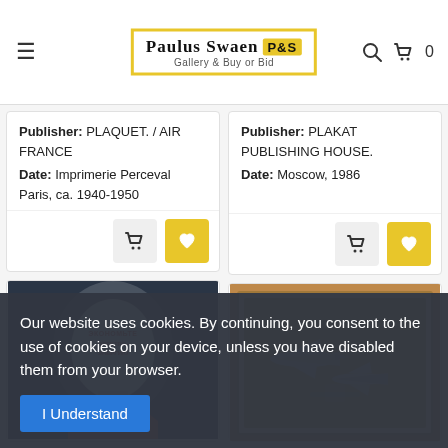Paulus Swaen Gallery & Buy or Bid
Publisher: PLAQUET. / AIR FRANCE
Date: Imprimerie Perceval Paris, ca. 1940-1950
Publisher: PLAKAT PUBLISHING HOUSE.
Date: Moscow, 1986
[Figure (photo): Poster image showing a glowing light bulb on dark background with red banner text]
[Figure (photo): Poster image showing aircraft with tools on a warm-toned background]
Our website uses cookies. By continuing, you consent to the use of cookies on your device, unless you have disabled them from your browser.